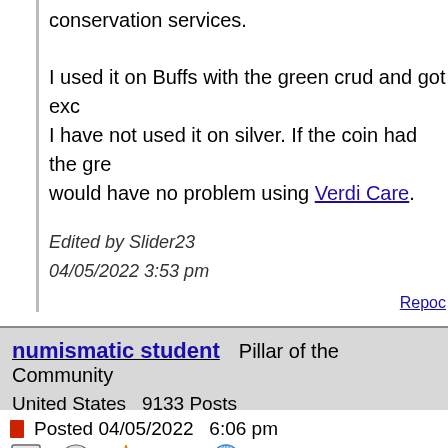conservation services.
I used it on Buffs with the green crud and got exc… I have not used it on silver. If the coin had the gre… would have no problem using Verdi Care.
Edited by Slider23
04/05/2022 3:53 pm
Repo…
numismatic student   Pillar of the Community
United States   9133 Posts
Posted 04/05/2022  6:06 pm
Well, only one side but the patina looks fantastic a… look banged up. The spot is a small concern - he…